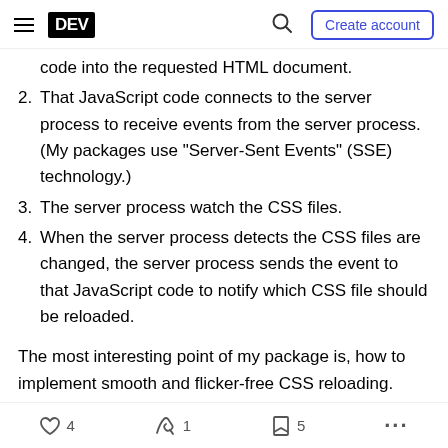DEV | Create account
code into the requested HTML document.
2. That JavaScript code connects to the server process to receive events from the server process. (My packages use "Server-Sent Events" (SSE) technology.)
3. The server process watch the CSS files.
4. When the server process detects the CSS files are changed, the server process sends the event to that JavaScript code to notify which CSS file should be reloaded.
The most interesting point of my package is, how to implement smooth and flicker-free CSS reloading.
4   1   5   ...